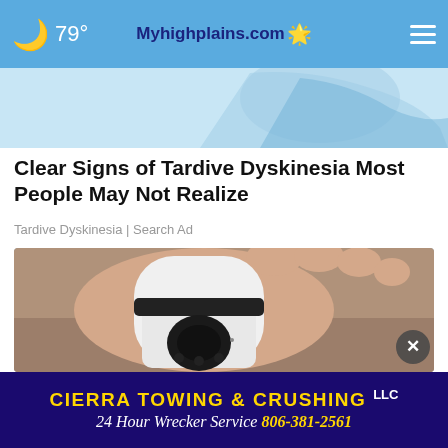🌙 79° | Myhighplains.com | ☰
[Figure (photo): Partial view of an advertisement image at top showing blue/white background]
Clear Signs of Tardive Dyskinesia Most People May Not Realize
Tardive Dyskinesia | Search Ad
[Figure (photo): A hand holding a small white security camera device with lens and LED lights visible]
CIERRA TOWING & CRUSHING LLC
24 Hour Wrecker Service 806-381-2561